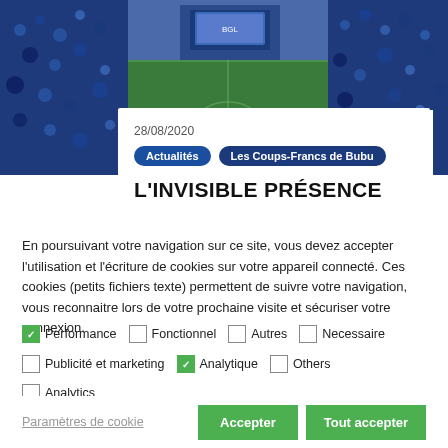[Figure (photo): Stadium crowd photo banner showing fans in blue and a sports event in the background]
28/08/2020
Actualités
Les Coups-Francs de Bubu
L'INVISIBLE PRÉSENCE
En poursuivant votre navigation sur ce site, vous devez accepter l'utilisation et l'écriture de cookies sur votre appareil connecté. Ces cookies (petits fichiers texte) permettent de suivre votre navigation, vous reconnaitre lors de votre prochaine visite et sécuriser votre connexion.
Performance (checked), Fonctionnel, Autres, Necessaire
Publicité et marketing, Analytique (checked), Others
Analytics
Paramètres de cookie | Accepter | Tout accepter